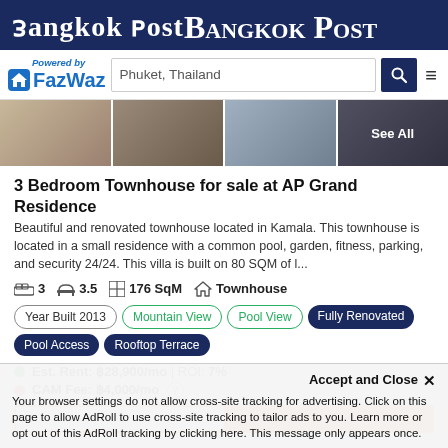Bangkok Post
[Figure (logo): FazWaz logo with 'Powered by' text and search bar showing 'Phuket, Thailand']
[Figure (photo): Strip of 4 property interior/exterior photos with 'See All' overlay on the last panel]
3 Bedroom Townhouse for sale at AP Grand Residence
Beautiful and renovated townhouse located in Kamala. This townhouse is located in a small residence with a common pool, garden, fitness, parking, and security 24/24. This villa is built on 80 SQM of l...
3   3.5   176 SqM   Townhouse
Year Built 2013
Mountain View
Pool View
Fully Renovated
Pool Access
Rooftop Terrace
Est. Rent: ฿28,900/mo | ROI: 7%
CAM Fee: ฿4,000/mo
Accept and Close ✕
Your browser settings do not allow cross-site tracking for advertising. Click on this page to allow AdRoll to use cross-site tracking to tailor ads to you. Learn more or opt out of this AdRoll tracking by clicking here. This message only appears once.